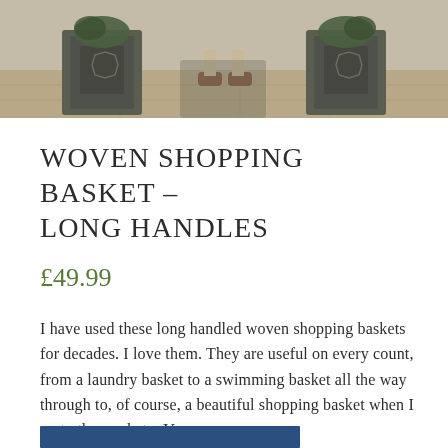[Figure (photo): Top portion of a photo showing plant containers/planters on a stone surface with a person's feet visible]
WOVEN SHOPPING BASKET – LONG HANDLES
£49.99
I have used these long handled woven shopping baskets for decades. I love them. They are useful on every count, from a laundry basket to a swimming basket all the way through to, of course, a beautiful shopping basket when I go to the market – Vanessa